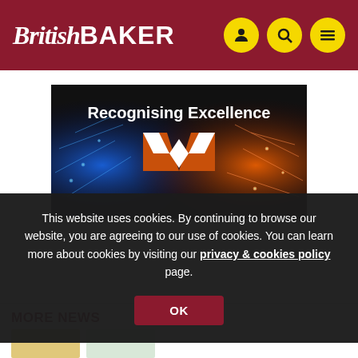British Baker
[Figure (illustration): Banner image with dark background showing blue and orange fire/energy effects with text 'Recognising Excellence' and a large orange X logo in the center]
This website uses cookies. By continuing to browse our website, you are agreeing to our use of cookies. You can learn more about cookies by visiting our privacy & cookies policy page.
OK
MORE NEWS